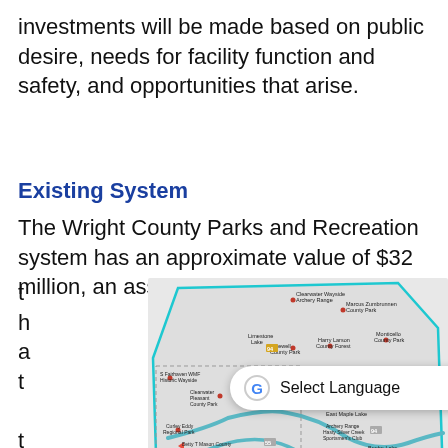investments will be made based on public desire, needs for facility function and safety, and opportunities that arise.
Existing System
The Wright County Parks and Recreation system has an approximate value of $32 million, an asset that the coun
[Figure (map): Map of Wright County Parks and Recreation system showing locations of county parks, regional parks, forests, waysides, and other facilities including Clearwater Wayside Archery Range, Marcus Zumbrunnen County Park, Limestone Lake, Stewell County Park, Harry Larson County Forest, Monticello County Park, Fairhaven WMF Historic Wayside, Schroeder County Park, Bemnan Peaks of Lakes Regional Park, Osego County Park, Clearwater Pleasant County Park, Robert Ney Regional Park, East Maple Lake Archery Range, Hasty Silver Creek Sportsmen's Club, Curley Eddy Regional Park, Beebe Lake County Park, Riverside County Park, Betty T Mason County River Access, Carl Johnson County Forest, Wild Plum County Park, Mud Lake County Park, Humphrey Arenas County Park, H Eagle Roost, Pleasant View, Pleasant View South, Albrights Mill County Park, Bill Anderson Memorial Park, Crawford Lake, Crow Spring County Park, Little Waverly, Dustin Monument, Collinwood Regional Park, Albert Yeager, Oscar & Anna Johnson County Park.]